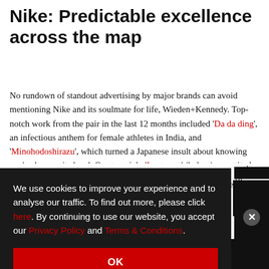Nike: Predictable excellence across the map
No rundown of standout advertising by major brands can avoid mentioning Nike and its soulmate for life, Wieden+Kennedy. Top-notch work from the pair in the last 12 months included 'Da da ding', an infectious anthem for female athletes in India, and 'Minohodoshirazu', which turned a Japanese insult about knowing one's place on its head. Our top pick: 'I got next' (below), an attitude- and meme-filled mix of [obscured] the tale of
We use cookies to improve your experience and to analyse our traffic. To find out more, please click here. By continuing to use our website, you accept our Privacy Policy and Terms & Conditions.
OK
D
ent ID: